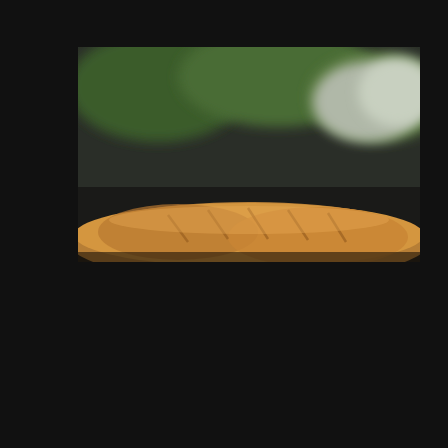[Figure (photo): Close-up photo of baguettes or bread rolls held in hands, with a blurred green and grey background]
The French may have brought with them the baguette, but Vietnam
We use cookies on our website to give you the most relevant experience by remembering your preferences and repeat visits. By clicking "Accept", you consent to the use of ALL the cookies.